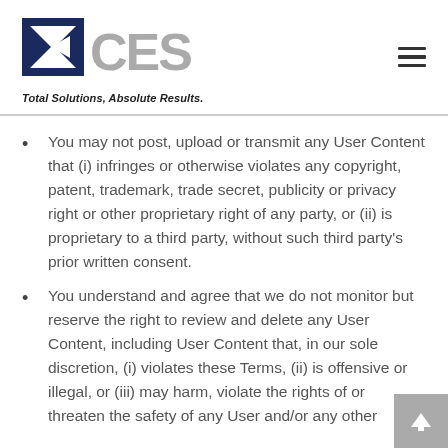[Figure (logo): EXCES logo with sigma/arrow symbol in navy blue and gray letters, with tagline 'Total Solutions, Absolute Results.' below]
You may not post, upload or transmit any User Content that (i) infringes or otherwise violates any copyright, patent, trademark, trade secret, publicity or privacy right or other proprietary right of any party, or (ii) is proprietary to a third party, without such third party's prior written consent.
You understand and agree that we do not monitor but reserve the right to review and delete any User Content, including User Content that, in our sole discretion, (i) violates these Terms, (ii) is offensive or illegal, or (iii) may harm, violate the rights of or threaten the safety of any User and/or any other